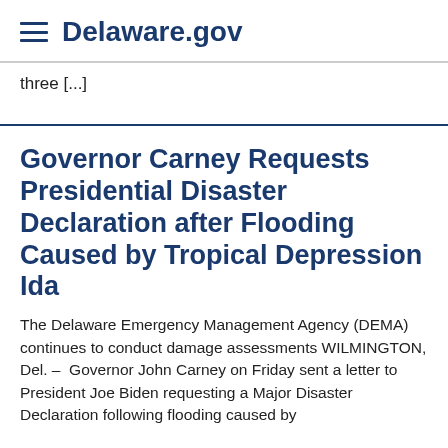Delaware.gov
three [...]
Governor Carney Requests Presidential Disaster Declaration after Flooding Caused by Tropical Depression Ida
The Delaware Emergency Management Agency (DEMA) continues to conduct damage assessments WILMINGTON, Del. –  Governor John Carney on Friday sent a letter to President Joe Biden requesting a Major Disaster Declaration following flooding caused by